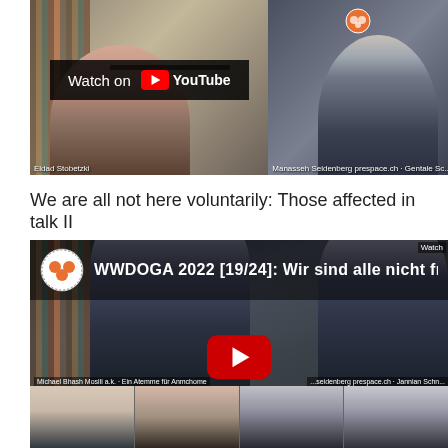[Figure (screenshot): YouTube video thumbnail showing two participants in a video call. Left panel: older man with glasses and headset in home office. Right panel: younger bearded man. 'Watch on YouTube' overlay with YouTube logo button visible.]
We are all not here voluntarily: Those affected in talk II
[Figure (screenshot): YouTube video thumbnail for 'WWDOGA 2022 [19/24]: Wir sind alle nicht freiw...' showing video call with multiple participants. WWDOGA logo in top left corner. YouTube play button in center. Lower row shows four additional participants.]